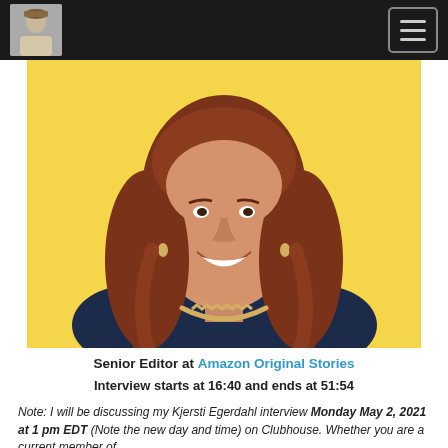[Figure (photo): Navigation bar with small avatar photo of a person on left, and hamburger menu icon on right, on dark background]
[Figure (photo): Headshot of a smiling woman with long curly red hair, wearing a navy blue top and gold chevron necklace, against a yellow background]
Senior Editor at Amazon Original Stories
Interview starts at 16:40 and ends at 51:54
Note: I will be discussing my Kjersti Egerdahl interview Monday May 2, 2021 at 1 pm EDT (Note the new day and time) on Clubhouse. Whether you are a current member of